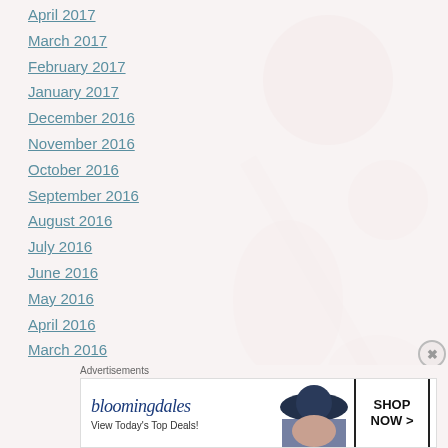April 2017
March 2017
February 2017
January 2017
December 2016
November 2016
October 2016
September 2016
August 2016
July 2016
June 2016
May 2016
April 2016
March 2016
February 2016
January 2016
[Figure (illustration): Faint background decorative illustration showing circular and figure shapes in light pink/red tones]
Advertisements
[Figure (other): Bloomingdale's advertisement banner: bloomingdales logo, View Today's Top Deals!, SHOP NOW > button, woman in wide-brim hat]